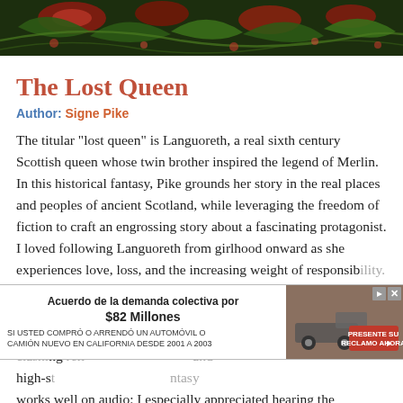[Figure (illustration): Decorative dark green and red botanical/floral pattern used as book cover art background]
The Lost Queen
Author: Signe Pike
The titular "lost queen" is Languoreth, a real sixth century Scottish queen whose twin brother inspired the legend of Merlin. In this historical fantasy, Pike grounds her story in the real places and peoples of ancient Scotland, while leveraging the freedom of fiction to craft an engrossing story about a fascinating protagonist. I loved following Languoreth from girlhood onward as she experiences love, loss, and the increasing weight of responsibility. The evocative setting made for a moody and escapist reading experience in which ancient magic, complex politics, and clashing religions all weave together seamlessly, and high-stakes court drama... fantasy works well on audio; I especially appreciated hearing the
[Figure (screenshot): Advertisement overlay: Acuerdo de la demanda colectiva por $82 Millones - SI USTED COMPRO O ARRENDO UN AUTOMOVIL O CAMION NUEVO EN CALIFORNIA DESDE 2001 A 2003 - PRESENTE SU RECLAMO AHORA, with car image]